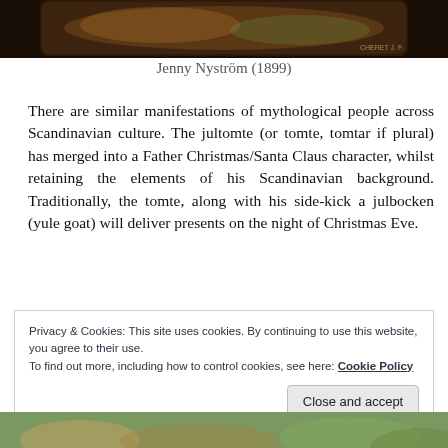[Figure (photo): Partial view of an illustrated vintage card or artwork, dark background with decorative imagery, attributed to CHERET J.F.]
Jenny Nyström (1899)
There are similar manifestations of mythological people across Scandinavian culture. The jultomte (or tomte, tomtar if plural) has merged into a Father Christmas/Santa Claus character, whilst retaining the elements of his Scandinavian background. Traditionally, the tomte, along with his side-kick a julbocken (yule goat) will deliver presents on the night of Christmas Eve.
Privacy & Cookies: This site uses cookies. By continuing to use this website, you agree to their use.
To find out more, including how to control cookies, see here: Cookie Policy
[Figure (photo): Bottom partial view of another vintage illustrated image with green and natural tones]